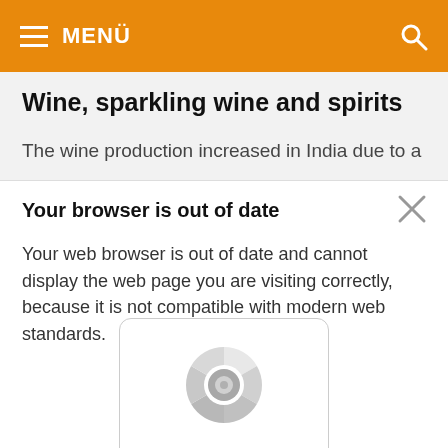≡ MENÜ
Wine, sparkling wine and spirits
The wine production increased in India due to a
Your browser is out of date
Your web browser is out of date and cannot display the web page you are visiting correctly, because it is not compatible with modern web standards.
[Figure (logo): Google Chrome browser logo icon with Google Chrome label text below]